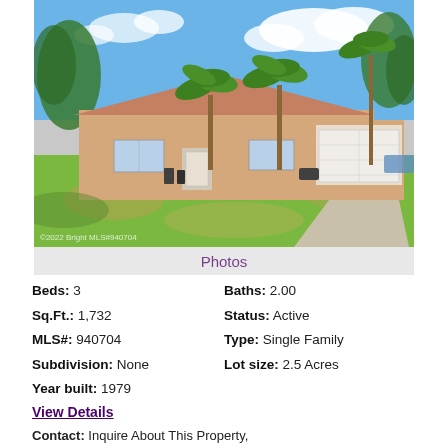[Figure (photo): Exterior front view of a single-story beige ranch-style home with palm trees, large front lawn with grass and dry patches, two-car garage on the right, and blue sky with clouds above.]
Photos
Beds: 3   Baths: 2.00
Sq.Ft.: 1,732   Status: Active
MLS#: 940704   Type: Single Family
Subdivision: None   Lot size: 2.5 Acres
Year built: 1979
View Details
Contact: Inquire About This Property, nancy@nancytaylorrealtor.com, (321) 308-